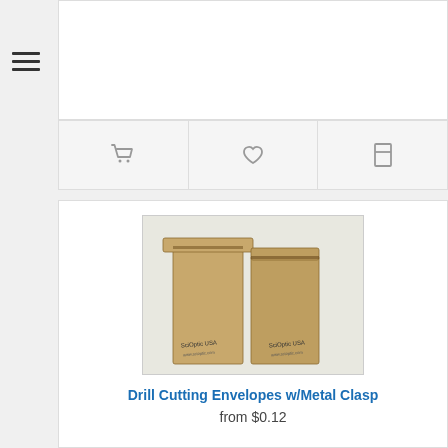from $0.59
[Figure (other): Hamburger menu icon (three horizontal lines)]
[Figure (other): Action bar with shopping cart icon, heart/wishlist icon, and share/bookmark icon]
[Figure (photo): Two kraft paper drill cutting envelopes with metal clasp, branded SciOptic USA, on white background]
Drill Cutting Envelopes w/Metal Clasp
from $0.12